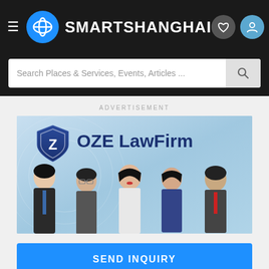SMARTSHANGHAI
Search Places & Services, Events, Articles ...
ADVERTISEMENT
[Figure (photo): OZE LawFirm advertisement banner showing five lawyers/professionals posed together against a light blue background, with OZE LawFirm logo and shield icon at top]
SEND INQUIRY